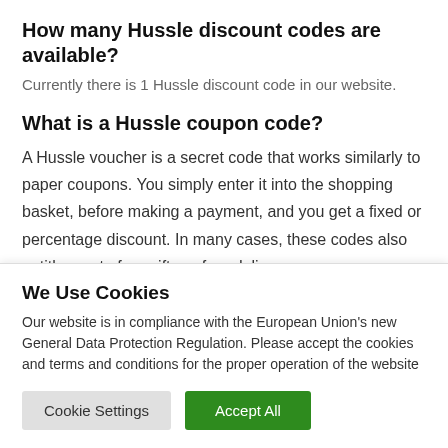How many Hussle discount codes are available?
Currently there is 1 Hussle discount code in our website.
What is a Hussle coupon code?
A Hussle voucher is a secret code that works similarly to paper coupons. You simply enter it into the shopping basket, before making a payment, and you get a fixed or percentage discount. In many cases, these codes also entitle you to free gifts or free delivery.
When are new Hussle discount codes added?
We Use Cookies
Our website is in compliance with the European Union's new General Data Protection Regulation. Please accept the cookies and terms and conditions for the proper operation of the website